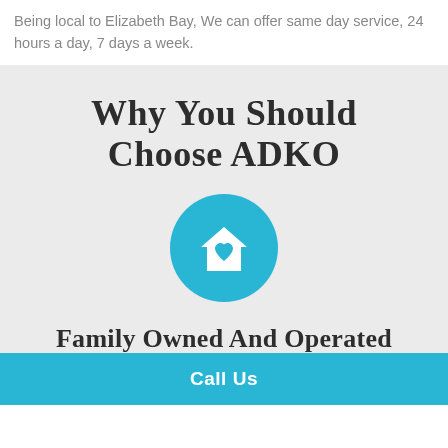Being local to Elizabeth Bay, We can offer same day service, 24 hours a day, 7 days a week.
Why You Should Choose ADKO
[Figure (illustration): A circular teal/cyan icon containing a white house silhouette with a heart shape in the center]
Family Owned And Operated
Call Us